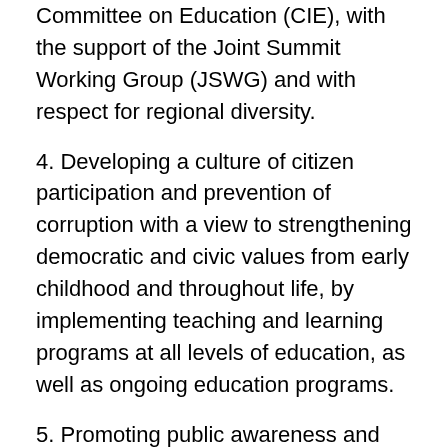Committee on Education (CIE), with the support of the Joint Summit Working Group (JSWG) and with respect for regional diversity.
4. Developing a culture of citizen participation and prevention of corruption with a view to strengthening democratic and civic values from early childhood and throughout life, by implementing teaching and learning programs at all levels of education, as well as ongoing education programs.
5. Promoting public awareness and citizen participation campaigns for the prevention of and participation in the fight against corruption and impunity, and on the tools available to address and combat corruption.